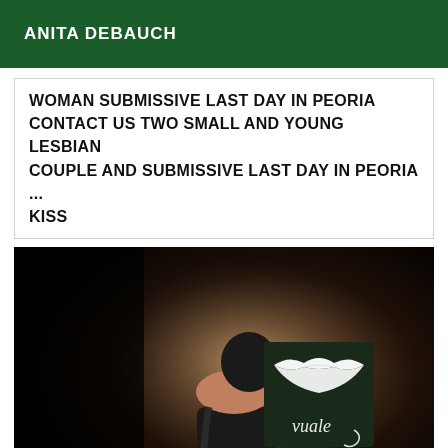ANITA DEBAUCH
WOMAN SUBMISSIVE LAST DAY IN PEORIA CONTACT US TWO SMALL AND YOUNG LESBIAN COUPLE AND SUBMISSIVE LAST DAY IN PEORIA ... KISS
[Figure (photo): A person in a black outfit seen from behind, facing a mirror or artwork depicting white lip/kiss graphic and cursive text overlay]